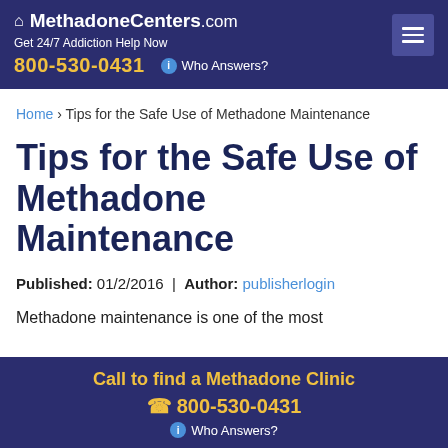MethadoneCenters.com — Get 24/7 Addiction Help Now — 800-530-0431 — Who Answers?
Home › Tips for the Safe Use of Methadone Maintenance
Tips for the Safe Use of Methadone Maintenance
Published: 01/2/2016  |  Author: publisherlogin
Methadone maintenance is one of the most
Call to find a Methadone Clinic — 800-530-0431 — Who Answers?